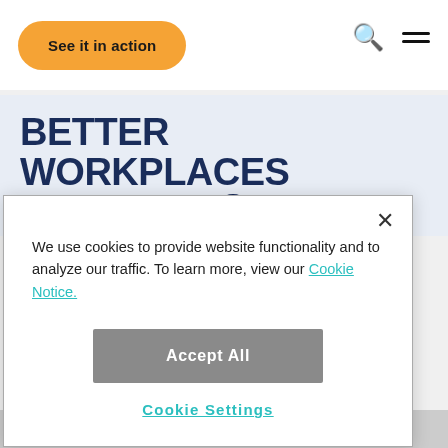[Figure (screenshot): Navigation bar with orange rounded 'See it in action' button on the left, and search and hamburger menu icons on the right]
BETTER WORKPLACES BETTER WORLD™
We use cookies to provide website functionality and to analyze our traffic. To learn more, view our Cookie Notice.
Accept All
Cookie Settings